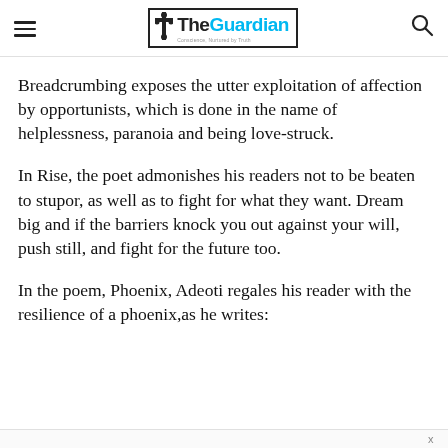The Guardian — Conscience, Nurtured by Truth
Breadcrumbing exposes the utter exploitation of affection by opportunists, which is done in the name of helplessness, paranoia and being love-struck.
In Rise, the poet admonishes his readers not to be beaten to stupor, as well as to fight for what they want. Dream big and if the barriers knock you out against your will, push still, and fight for the future too.
In the poem, Phoenix, Adeoti regales his reader with the resilience of a phoenix,as he writes: